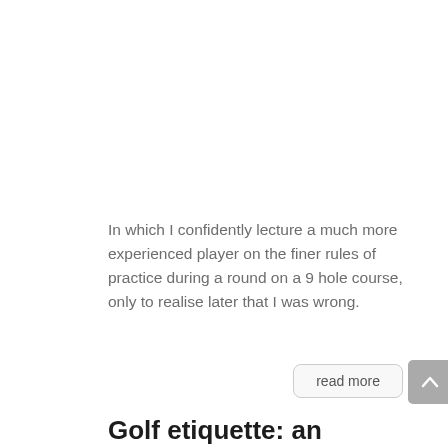In which I confidently lecture a much more experienced player on the finer rules of practice during a round on a 9 hole course, only to realise later that I was wrong.
Golf etiquette: an infographic to teach new players
by Céline | Dec 1, 2017 | Categories: Rules. | 0 Comments
[Figure (photo): Partial green banner image at bottom, showing top of golf infographic illustration]